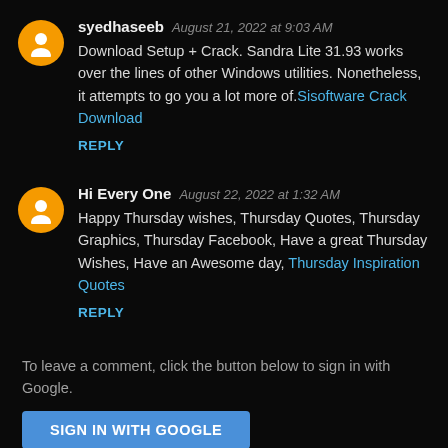syedhaseeb — August 21, 2022 at 9:03 AM
Download Setup + Crack. Sandra Lite 31.93 works over the lines of other Windows utilities. Nonetheless, it attempts to go you a lot more of.Sisoftware Crack Download
REPLY
Hi Every One — August 22, 2022 at 1:32 AM
Happy Thursday wishes, Thursday Quotes, Thursday Graphics, Thursday Facebook, Have a great Thursday Wishes, Have an Awesome day, Thursday Inspiration Quotes
REPLY
To leave a comment, click the button below to sign in with Google.
SIGN IN WITH GOOGLE